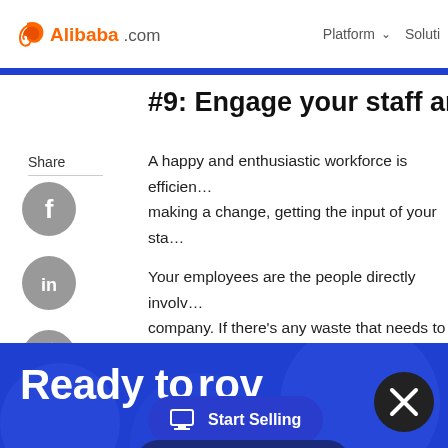Alibaba.com — Platform ∨ Soluti…
#9: Engage your staff an…
Share
[Figure (logo): Facebook circular grey social share button]
[Figure (logo): LinkedIn circular grey social share button]
[Figure (logo): Twitter circular grey social share button]
A happy and enthusiastic workforce is efficien… making a change, getting the input of your sta…
Your employees are the people directly involv… company. If there's any waste that needs to b… employees are th… kno…
[Figure (screenshot): Start Selling dark blue pill button with monitor icon]
[Figure (screenshot): Customer Service dark blue pill button with headset icon]
Ready to rov…
[Figure (other): Black circular close (X) button overlay]